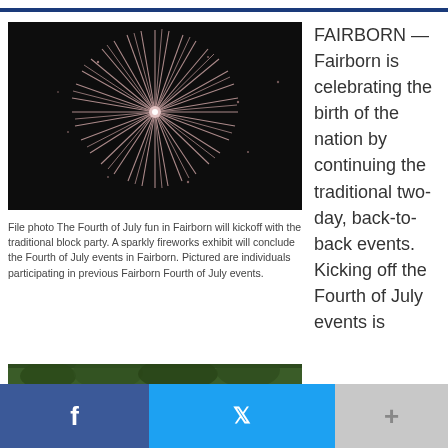[Figure (photo): Fireworks burst against a dark night sky, sparkly white and pink trails radiating outward from center.]
File photo The Fourth of July fun in Fairborn will kickoff with the traditional block party. A sparkly fireworks exhibit will conclude the Fourth of July events in Fairborn. Pictured are individuals participating in previous Fairborn Fourth of July events.
[Figure (photo): Partial view of a second photo showing green treetops or foliage, mostly cropped.]
FAIRBORN — Fairborn is celebrating the birth of the nation by continuing the traditional two-day, back-to-back events. Kicking off the Fourth of July events is